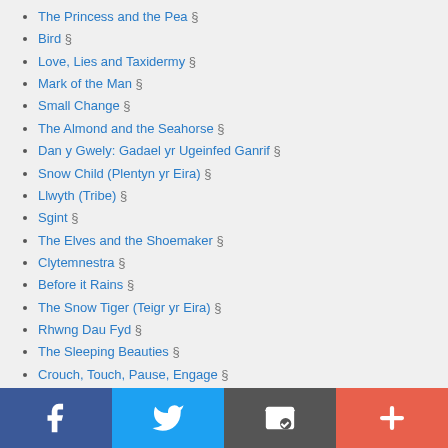The Princess and the Pea §
Bird §
Love, Lies and Taxidermy §
Mark of the Man §
Small Change §
The Almond and the Seahorse §
Dan y Gwely: Gadael yr Ugeinfed Ganrif §
Snow Child (Plentyn yr Eira) §
Llwyth (Tribe) §
Sgint §
The Elves and the Shoemaker §
Clytemnestra §
Before it Rains §
The Snow Tiger (Teigr yr Eira) §
Rhwng Dau Fyd §
The Sleeping Beauties §
Crouch, Touch, Pause, Engage §
Iphigenia in Splott §
Iphigenia in Splott §
[Figure (infographic): Social media share bar with Facebook, Twitter, email, and add buttons]